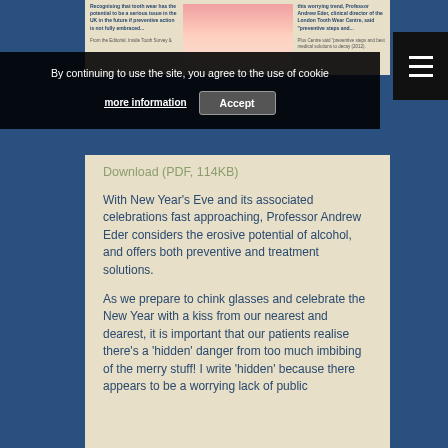[Figure (screenshot): Top portion of a dental article page showing two text columns and a dental photograph in the center]
By continuing to use the site, you agree to the use of cookie
more information
Accept
Download (PDF, 114KB)
With New Year's Eve and its associated celebrations fast approaching, Professor Andrew Eder considers the erosive potential of alcohol, and offers both preventive and treatment solutions.
As we prepare to chink glasses and celebrate the New Year with a kiss from our nearest and dearest, it is important that our patients realise there's a 'hidden' danger from too much imbibing of the merry stuff! I write 'hidden' because there appears to be a worrying lack of public